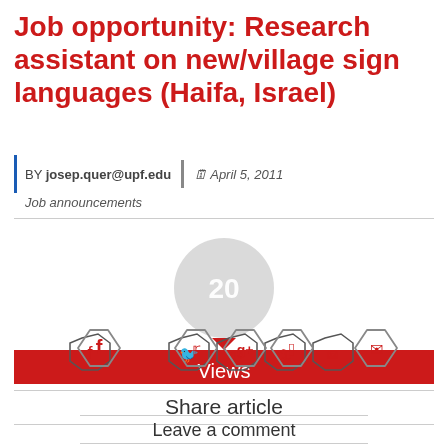Job opportunity: Research assistant on new/village sign languages (Haifa, Israel)
BY josep.quer@upf.edu | April 5, 2011
Job announcements
[Figure (infographic): Circle badge showing '20' views count, above a red bar labeled 'Views']
Share article
[Figure (infographic): Five hexagon social share icons: Facebook, Twitter, Google+, Pinterest, Email]
Leave a comment